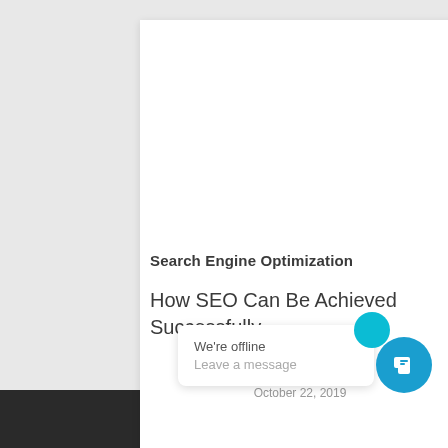Search Engine Optimization
How SEO Can Be Achieved Successfully
LineLogic Staff
October 22, 2019
We're offline
Leave a message